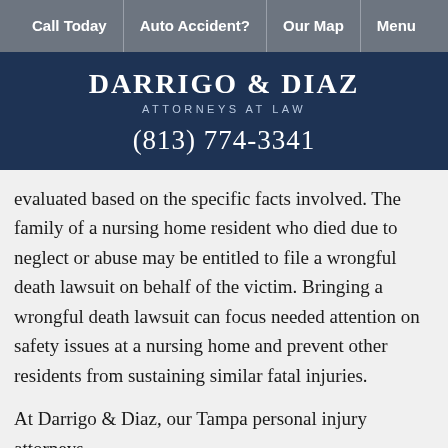Call Today | Auto Accident? | Our Map | Menu
DARRIGO & DIAZ
ATTORNEYS AT LAW
(813) 774-3341
evaluated based on the specific facts involved. The family of a nursing home resident who died due to neglect or abuse may be entitled to file a wrongful death lawsuit on behalf of the victim. Bringing a wrongful death lawsuit can focus needed attention on safety issues at a nursing home and prevent other residents from sustaining similar fatal injuries.
At Darrigo & Diaz, our Tampa personal injury attorneys